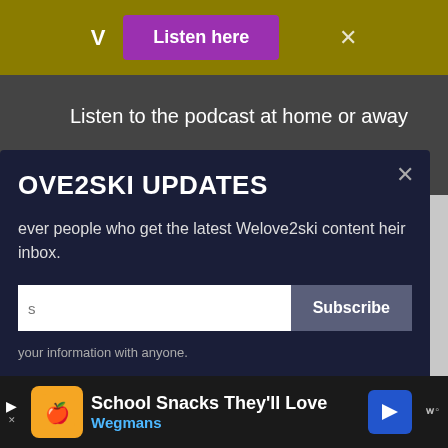[Figure (screenshot): Olive/yellow toolbar with a 'v' symbol, a purple 'Listen here' button, and a white 'x' close button on the right.]
Listen to the podcast at home or away
OVE2SKI UPDATES
ever people who get the latest Welove2ski content heir inbox.
s
Subscribe
your information with anyone.
© 2020. All Rights Reserved. Created with love by WL2S
Exclusive Member of Mediavine Home
[Figure (screenshot): Advertisement bar at the bottom: school snacks promo with Wegmans branding, play controls, navigation arrow icon, and media branding.]